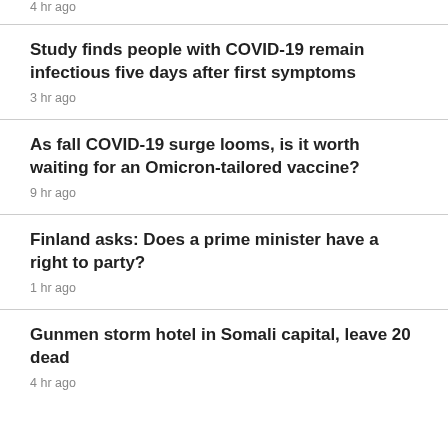4 hr ago
Study finds people with COVID-19 remain infectious five days after first symptoms
3 hr ago
As fall COVID-19 surge looms, is it worth waiting for an Omicron-tailored vaccine?
9 hr ago
Finland asks: Does a prime minister have a right to party?
1 hr ago
Gunmen storm hotel in Somali capital, leave 20 dead
4 hr ago